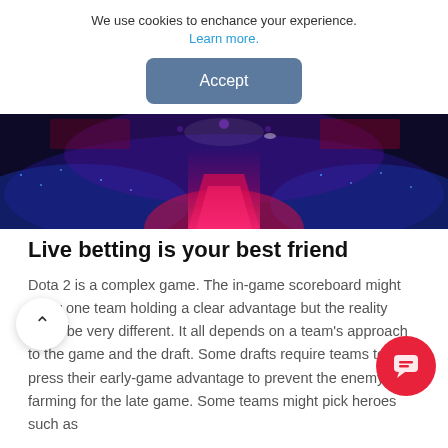We use cookies to enchance your experience. Learn more.
Accept
[Figure (photo): Panoramic view of a large esports arena filled with a crowd illuminated in blue, purple, and red lighting, with a bright pink/red central stage walkway]
Live betting is your best friend
Dota 2 is a complex game. The in-game scoreboard might show one team holding a clear advantage but the reality could be very different. It all depends on a team's approach to the game and the draft. Some drafts require teams to press their early-game advantage to prevent the enemy from farming for the late game. Some teams might pick heroes such as